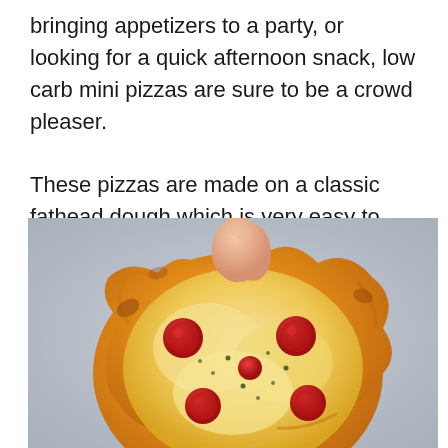bringing appetizers to a party, or looking for a quick afternoon snack, low carb mini pizzas are sure to be a crowd pleaser.

These pizzas are made on a classic fathead dough which is very easy to make.
[Figure (photo): A hand holding a small round mini pizza topped with melted cheese, pepperoni slices, and herbs on a light grey background.]